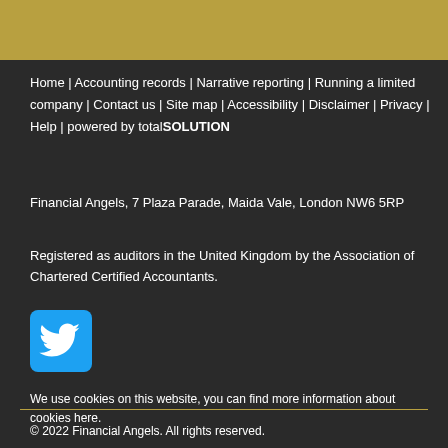Home | Accounting records | Narrative reporting | Running a limited company | Contact us | Site map | Accessibility | Disclaimer | Privacy | Help | powered by totalSOLUTION
Financial Angels, 7 Plaza Parade, Maida Vale, London NW6 5RP
Registered as auditors in the United Kingdom by the Association of Chartered Certified Accountants.
[Figure (logo): Twitter bird logo icon on blue background]
We use cookies on this website, you can find more information about cookies here.
© 2022 Financial Angels. All rights reserved.